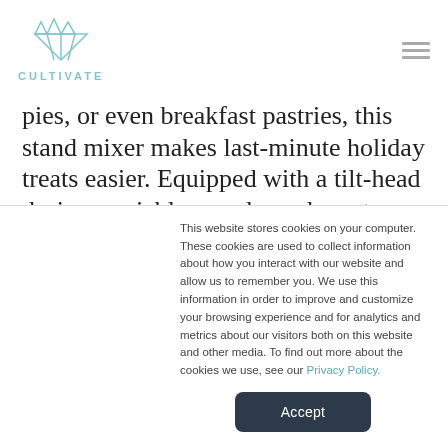CULTIVATE
pies, or even breakfast pastries, this stand mixer makes last-minute holiday treats easier. Equipped with a tilt-head design, variable speeds, and must-have mixer accessories, so they can easily adjust the texture without losing any of the flavors.
This website stores cookies on your computer. These cookies are used to collect information about how you interact with our website and allow us to remember you. We use this information in order to improve and customize your browsing experience and for analytics and metrics about our visitors both on this website and other media. To find out more about the cookies we use, see our Privacy Policy.
Accept